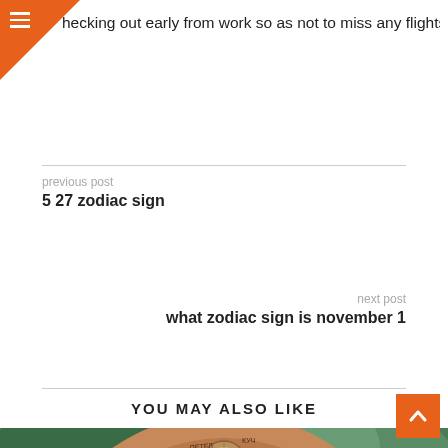hecking out early from work so as not to miss any flights!
previous post
5 27 zodiac sign
next post
what zodiac sign is november 1
YOU MAY ALSO LIKE
[Figure (photo): A wooden zodiac wheel with carved zodiac symbols and Cyrillic text labels, photographed outdoors with green foliage in the background.]